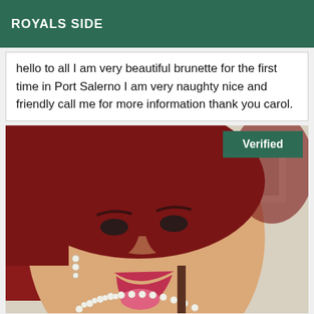ROYALS SIDE
hello to all I am very beautiful brunette for the first time in Port Salerno I am very naughty nice and friendly call me for more information thank you carol.
[Figure (photo): Photo of a woman with reddish-brown hair, wearing pearl necklace, with tongue out. A 'Verified' badge appears in the top-right corner of the photo.]